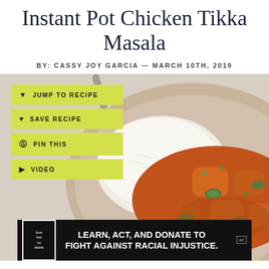Instant Pot Chicken Tikka Masala
BY: CASSY JOY GARCIA — MARCH 10TH, 2019
[Figure (photo): A bowl of Chicken Tikka Masala with orange-red sauce, chunks of chicken, sliced jalapeños, cilantro, served alongside white rice in a ceramic bowl. Interactive buttons overlaid on left: Jump to Recipe, Save Recipe, Pin This, Video.]
[Figure (infographic): Black advertisement banner reading: LEARN, ACT, AND DONATE TO FIGHT AGAINST RACIAL INJUSTICE. with 'love has no labels' logo on left and 'ad choices' badge on right.]